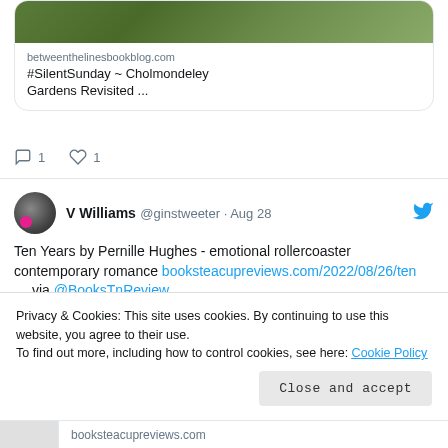[Figure (screenshot): Top portion of a tweet card showing a link preview with image of gardens. Link card shows betweenthelinesbookblog.com with title '#SilentSunday ~ Cholmondeley Gardens Revisited ...' and action icons showing 1 comment and 1 like.]
betweenthelinesbookblog.com
#SilentSunday ~ Cholmondeley Gardens Revisited ...
1  1
V Williams @ginstweeter · Aug 28
Ten Years by Pernille Hughes - emotional rollercoaster contemporary romance booksteacupreviews.com/2022/08/26/ten … via @BooksTnReview
[Figure (screenshot): Partial image preview of a book cover at the bottom of the second tweet]
Privacy & Cookies: This site uses cookies. By continuing to use this website, you agree to their use.
To find out more, including how to control cookies, see here: Cookie Policy
Close and accept
booksteacupreviews.com